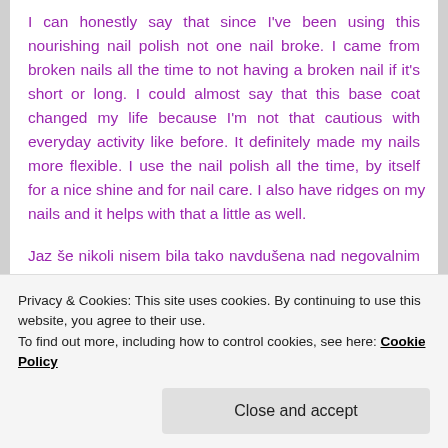I can honestly say that since I've been using this nourishing nail polish not one nail broke. I came from broken nails all the time to not having a broken nail if it's short or long. I could almost say that this base coat changed my life because I'm not that cautious with everyday activity like before. It definitely made my nails more flexible. I use the nail polish all the time, by itself for a nice shine and for nail care. I also have ridges on my nails and it helps with that a little as well.
Jaz še nikoli nisem bila tako navdušena nad negovalnim lakom, kot sem nad tem in mislim, da bo z mano ostal večno. Edini minus v mojem primeru je ta, da mi nohti še hitreje rastejo kot prej, kar pa meni ni všeč, saj imam rada
Privacy & Cookies: This site uses cookies. By continuing to use this website, you agree to their use.
To find out more, including how to control cookies, see here: Cookie Policy
Close and accept